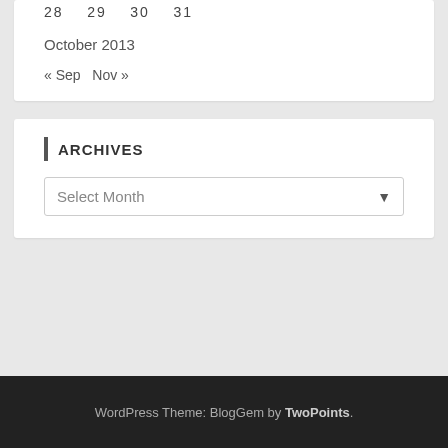28   29   30   31
October 2013
« Sep   Nov »
ARCHIVES
Select Month
WordPress Theme: BlogGem by TwoPoints.